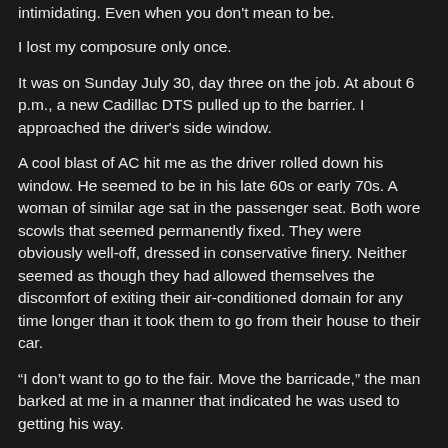intimidating. Even when you don't mean to be.
I lost my composure only once.
It was on Sunday July 30, day three on the job. At about 6 p.m., a new Cadillac DTS pulled up to the barrier. I approached the driver's side window.
A cool blast of AC hit me as the driver rolled down his window. He seemed to be in his late 60s or early 70s. A woman of similar age sat in the passenger seat. Both wore scowls that seemed permanently fixed. They were obviously well-off, dressed in conservative finery. Neither seemed as though they had allowed themselves the discomfort of exiting their air-conditioned domain for any time longer than it took them to go from their house to their car.
“I don’t want to go to the fair. Move the barricade,” the man barked at me in a manner that indicated he was used to getting his way.
“I’m sorry, sir. Smith Street is closed to all traffic from this point onward. You’ll have to proceed through the parking lot